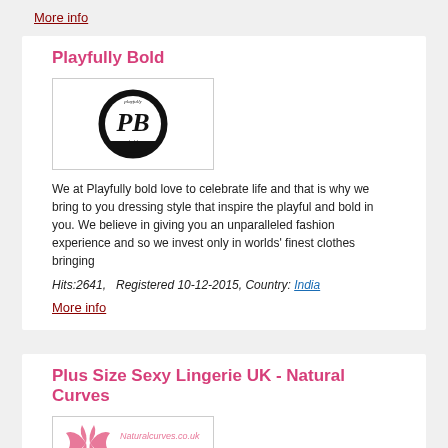More info
Playfully Bold
[Figure (logo): Playfully Bold circular logo with stylized PB lettering in black and white]
We at Playfully bold love to celebrate life and that is why we bring to you dressing style that inspire the playful and bold in you. We believe in giving you an unparalleled fashion experience and so we invest only in worlds' finest clothes bringing
Hits:2641,   Registered 10-12-2015, Country: India
More info
Plus Size Sexy Lingerie UK - Natural Curves
[Figure (logo): Natural Curves logo with pink butterfly/wings motif and Naturalcurves.co.uk text]